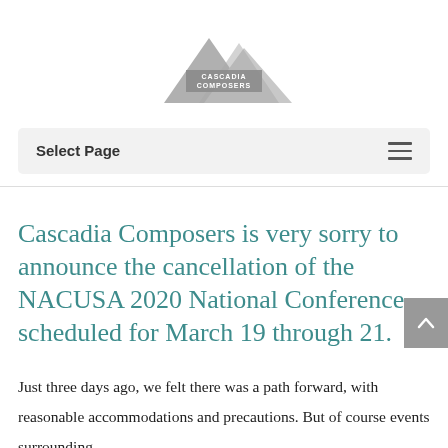[Figure (logo): Cascadia Composers logo — mountain peaks graphic with text CASCADIA COMPOSERS in the center, rendered in grayscale]
Select Page
Cascadia Composers is very sorry to announce the cancellation of the NACUSA 2020 National Conference scheduled for March 19 through 21.
Just three days ago, we felt there was a path forward, with reasonable accommodations and precautions. But of course events surrounding